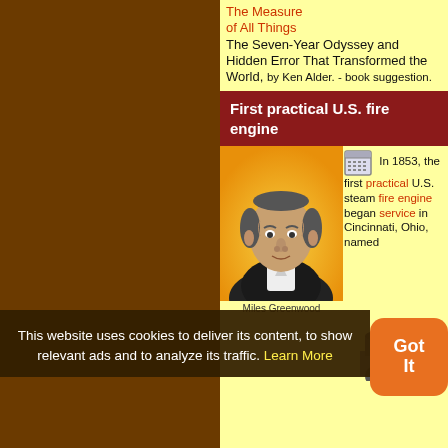The Measure of All Things The Seven-Year Odyssey and Hidden Error That Transformed the World, by Ken Alder. - book suggestion.
First practical U.S. fire engine
[Figure (photo): Portrait illustration of Miles Greenwood on yellow/orange background]
Miles Greenwood
In 1853, the first practical U.S. steam fire engine began service in Cincinnati, Ohio, named
This website uses cookies to deliver its content, to show relevant ads and to analyze its traffic. Learn More